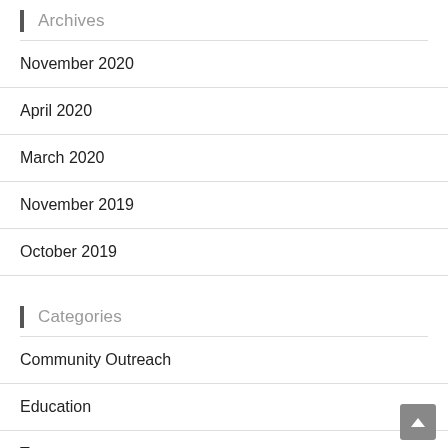Archives
November 2020
April 2020
March 2020
November 2019
October 2019
Categories
Community Outreach
Education
Teams